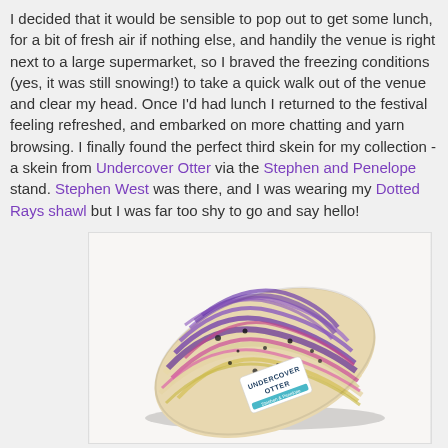I decided that it would be sensible to pop out to get some lunch, for a bit of fresh air if nothing else, and handily the venue is right next to a large supermarket, so I braved the freezing conditions (yes, it was still snowing!) to take a quick walk out of the venue and clear my head. Once I'd had lunch I returned to the festival feeling refreshed, and embarked on more chatting and yarn browsing. I finally found the perfect third skein for my collection - a skein from Undercover Otter via the Stephen and Penelope stand. Stephen West was there, and I was wearing my Dotted Rays shawl but I was far too shy to go and say hello!
[Figure (photo): A skein of hand-dyed yarn with purple, pink, cream, and yellow colors with black speckles, laying on a white surface. The yarn has an Undercover Otter label wrapped around it.]